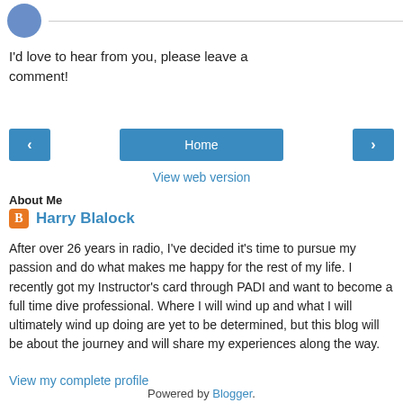[Figure (photo): Circular avatar image of a person, followed by a horizontal divider line]
I'd love to hear from you, please leave a comment!
[Figure (other): Navigation row with left arrow button, Home button, and right arrow button]
View web version
About Me
Harry Blalock
After over 26 years in radio, I've decided it's time to pursue my passion and do what makes me happy for the rest of my life. I recently got my Instructor's card through PADI and want to become a full time dive professional. Where I will wind up and what I will ultimately wind up doing are yet to be determined, but this blog will be about the journey and will share my experiences along the way.
View my complete profile
Powered by Blogger.